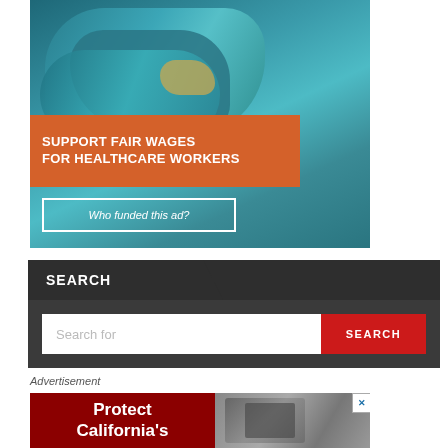[Figure (infographic): Advertisement banner showing a healthcare worker in blue scrubs crouched on the floor. Orange bar overlay reads 'SUPPORT FAIR WAGES FOR HEALTHCARE WORKERS'. Below is a white-bordered button reading 'Who funded this ad?']
[Figure (screenshot): Search widget with dark grey background. Header tab reads 'SEARCH'. Below is a white input field with placeholder 'Search for' and a red button labeled 'SEARCH'.]
Advertisement
[Figure (infographic): Partial advertisement banner with dark red background on the left showing text 'Protect California's' in white, and a black-and-white photo on the right. An 'X' close button is visible.]